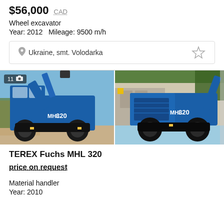$56,000 CAD
Wheel excavator
Year: 2012  Mileage: 9500 m/h
Ukraine, smt. Volodarka
[Figure (photo): Two photos of a blue TEREX Fuchs MHL 320 wheeled material handler/excavator shown from the side in an outdoor setting. The first image shows the machine from the left side with a badge showing '11' and a camera icon. The second shows the machine from a slightly different angle.]
TEREX Fuchs MHL 320
price on request
Material handler
Year: 2010